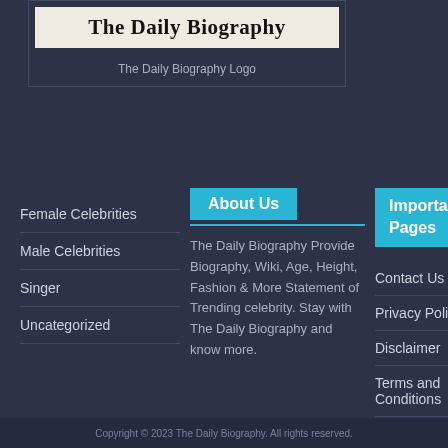[Figure (logo): The Daily Biography logo with serif bold text on light background]
The Daily Biography Logo
Female Celebrities
Male Celebrities
Singer
Uncategorized
About Us
The Daily Biography Provide Biography, Wiki, Age, Height, Fashion & More Statement of Trending celebrity. Stay with The Daily Biography and know more.
Important Pages
Contact Us
Privacy Policy
Disclaimer
Terms and Conditions
Sitemap
Copyright © 2023 The Daily Biography. All rights reserved.